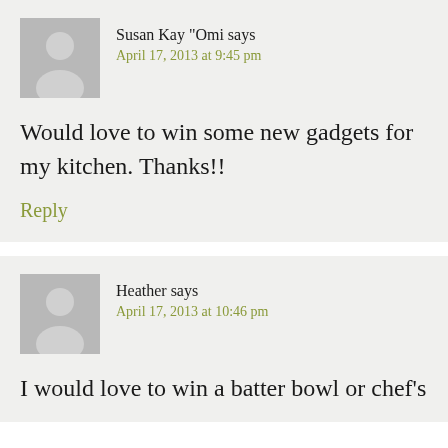Susan Kay "Omi says
April 17, 2013 at 9:45 pm
Would love to win some new gadgets for my kitchen. Thanks!!
Reply
Heather says
April 17, 2013 at 10:46 pm
I would love to win a batter bowl or chef's